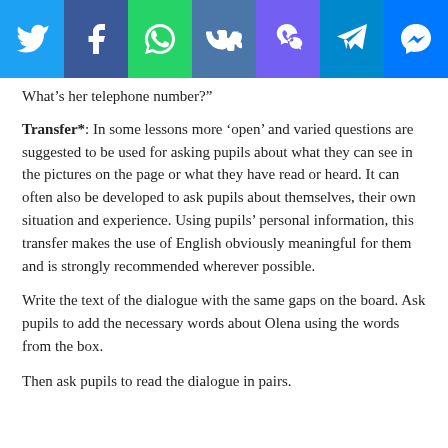[Figure (screenshot): Social media sharing bar with icons for Twitter, Facebook, WhatsApp, VK, Viber, Telegram, and Messenger]
What’s her telephone number?”
Transfer*: In some lessons more ‘open’ and varied questions are suggested to be used for asking pupils about what they can see in the pictures on the page or what they have read or heard. It can often also be developed to ask pupils about themselves, their own situation and experience. Using pupils’ personal information, this transfer makes the use of English obviously meaningful for them and is strongly recommended wherever possible.
Write the text of the dialogue with the same gaps on the board. Ask pupils to add the necessary words about Olena using the words from the box.
Then ask pupils to read the dialogue in pairs.